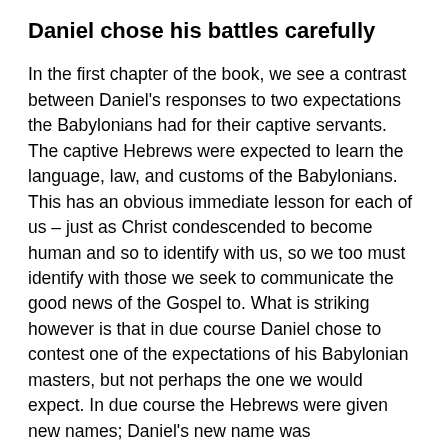Daniel chose his battles carefully
In the first chapter of the book, we see a contrast between Daniel's responses to two expectations the Babylonians had for their captive servants. The captive Hebrews were expected to learn the language, law, and customs of the Babylonians. This has an obvious immediate lesson for each of us – just as Christ condescended to become human and so to identify with us, so we too must identify with those we seek to communicate the good news of the Gospel to. What is striking however is that in due course Daniel chose to contest one of the expectations of his Babylonian masters, but not perhaps the one we would expect. In due course the Hebrews were given new names; Daniel's new name was 'Belteshazzar', a name which pointed to the god Baal that the Babylonians worshiped, while his friends' new Babylonian names also referred to Babylonian gods. One would expect that they would